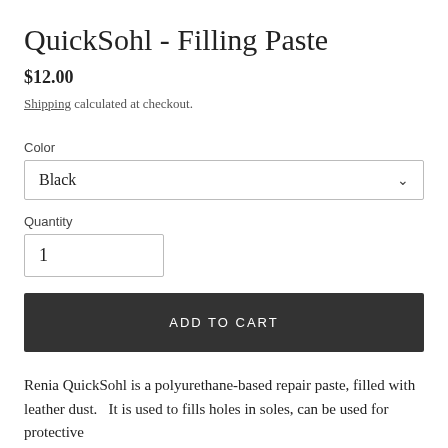QuickSohl - Filling Paste
$12.00
Shipping calculated at checkout.
Color
Black
Quantity
1
ADD TO CART
Renia QuickSohl is a polyurethane-based repair paste, filled with leather dust.   It is used to fills holes in soles, can be used for protective